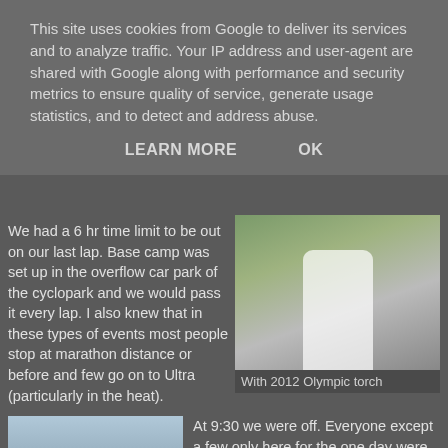This site uses cookies from Google to deliver its services and to analyze traffic. Your IP address and user-agent are shared with Google along with performance and security metrics to ensure quality of service, generate usage statistics, and to detect and address abuse.
LEARN MORE    OK
We had a 6 hr time limit to be out on our last lap. Base camp was set up in the overflow car park of the cyclopark and we would pass it every lap. I also knew that in these types of events most people stop at marathon distance or before and few go on to Ultra (particularly in the heat).
[Figure (photo): Person holding a 2012 Olympic torch, standing outdoors on gravel]
With 2012 Olympic torch
[Figure (photo): Person looking up toward the sky, outdoors]
At 9:30 we were off. Everyone except a few only here for the one day were taking it easy and I started clocking the laps off in around 42 minutes. It was very pleasant